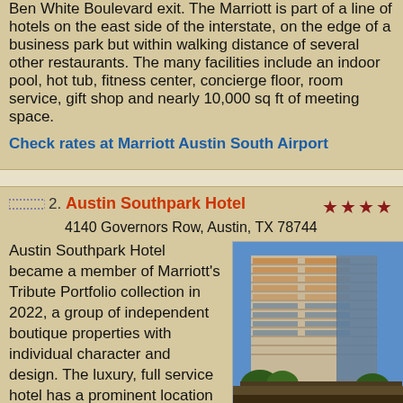Ben White Boulevard exit. The Marriott is part of a line of hotels on the east side of the interstate, on the edge of a business park but within walking distance of several other restaurants. The many facilities include an indoor pool, hot tub, fitness center, concierge floor, room service, gift shop and nearly 10,000 sq ft of meeting space.
Check rates at Marriott Austin South Airport
2. Austin Southpark Hotel
4140 Governors Row, Austin, TX 78744
Austin Southpark Hotel became a member of Marriott's Tribute Portfolio collection in 2022, a group of independent boutique properties with individual character and design. The luxury, full service hotel has a prominent location in a business district at the southeast corner of the Hwy 71/I-35 intersection, 3 miles south of the city center and 7 miles from the international airport; it